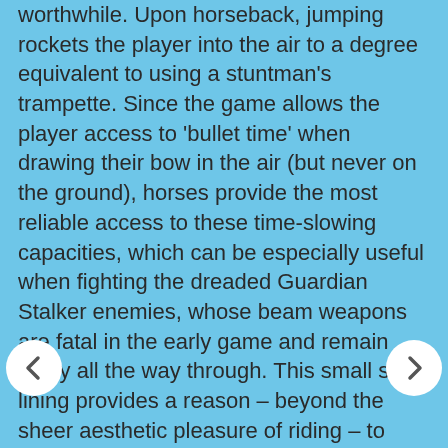worthwhile. Upon horseback, jumping rockets the player into the air to a degree equivalent to using a stuntman's trampette. Since the game allows the player access to 'bullet time' when drawing their bow in the air (but never on the ground), horses provide the most reliable access to these time-slowing capacities, which can be especially useful when fighting the dreaded Guardian Stalker enemies, whose beam weapons are fatal in the early game and remain nasty all the way through. This small silver lining provides a reason – beyond the sheer aesthetic pleasure of riding – to traverse the beautiful lands of Hyrule upon the back of a horse.
One final point is worth mentioning. Horses can die. This provided the most shocking moment of any Zelda game I have ever played, when a routine expedition along a coastal path went horribly wrong as I took a narrow path too rapidly and my mount stumbled, fell down the cliff, and died. Even knowing that the developers had provided an option for resurrection via a convenient Horse Goddess, I was hurt and humbled by realising that I had